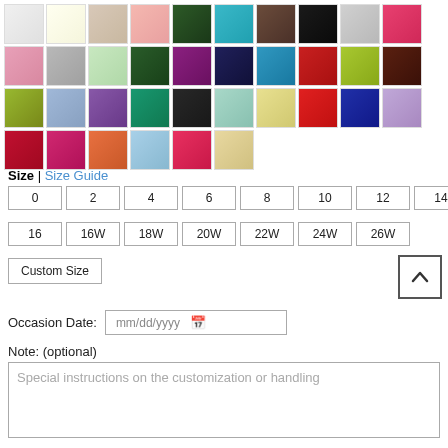[Figure (other): Grid of fabric color swatches in various colors: white, ivory, champagne, blush, dark green, teal, brown, black, silver, hot pink, pink, gray, mint green, forest green, purple, navy, cyan, red, lime green, chocolate brown, yellow-green, lavender blue, violet, emerald, charcoal, seafoam, yellow, scarlet, royal blue, lilac, crimson, fuchsia, orange, light blue, bright pink, nude/gold]
Size | Size Guide
0
2
4
6
8
10
12
14
16
16W
18W
20W
22W
24W
26W
Custom Size
Occasion Date:
mm/dd/yyyy
Note: (optional)
Special instructions on the customization or handling